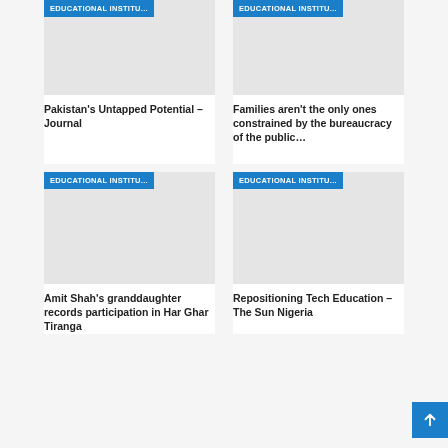[Figure (screenshot): Article card image placeholder with blue badge labeled EDUCATIONAL INSTITU...]
[Figure (screenshot): Article card image placeholder with blue badge labeled EDUCATIONAL INSTITU...]
Pakistan's Untapped Potential – Journal
Families aren't the only ones constrained by the bureaucracy of the public…
[Figure (screenshot): Article card image placeholder with blue badge labeled EDUCATIONAL INSTITU...]
[Figure (screenshot): Article card image placeholder with blue badge labeled EDUCATIONAL INSTITU...]
Amit Shah's granddaughter records participation in Har Ghar Tiranga
Repositioning Tech Education – The Sun Nigeria